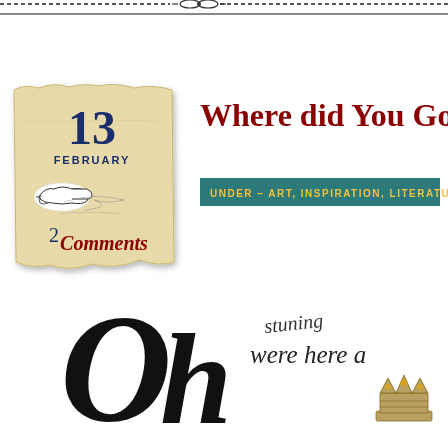[Figure (illustration): Decorative ornamental top border with scrollwork and flourishes in dark ink]
[Figure (illustration): Torn vintage parchment paper date card showing '13 FEBRUARY' with a pointing hand illustration and '2 Comments' text]
Where did You Go?
UNDER – ART, INSPIRATION, LITERATURE, MY
[Figure (illustration): Large decorative calligraphic script reading 'Oh' with 'were here a' and 'stuning' in italic serif, overlapping large ornamental letters, partial crown at bottom right]